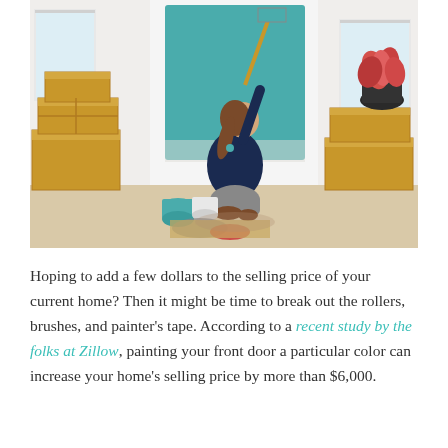[Figure (photo): A woman with a ponytail wearing a dark navy top is painting a wall teal/blue using a paint roller on an extended handle. She is kneeling on cardboard on the floor. Moving boxes are stacked on the left side, and stacked cardboard boxes with a pink tropical plant in a black pot are on the right. Paint cans and a paint tray are on the floor in front of her. The room has white walls and bright windows.]
Hoping to add a few dollars to the selling price of your current home? Then it might be time to break out the rollers, brushes, and painter's tape. According to a recent study by the folks at Zillow, painting your front door a particular color can increase your home's selling price by more than $6,000.